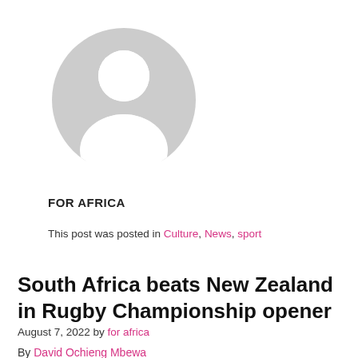[Figure (illustration): Generic grey avatar/person placeholder icon — circular head and shoulders silhouette]
FOR AFRICA
This post was posted in Culture, News, sport
South Africa beats New Zealand in Rugby Championship opener
August 7, 2022 by for africa
By David Ochieng Mbewa